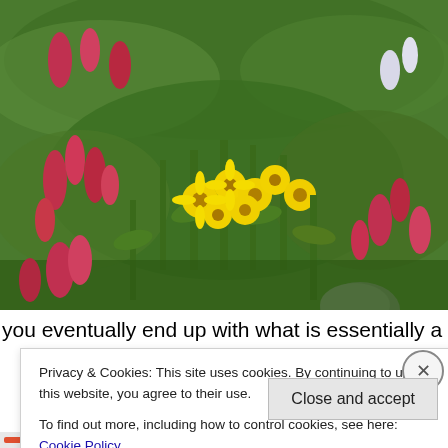[Figure (photo): A wildflower meadow with yellow, pink/red flowers and green foliage, outdoor nature scene.]
you eventually end up with what is essentially a single-
Privacy & Cookies: This site uses cookies. By continuing to use this website, you agree to their use.
To find out more, including how to control cookies, see here: Cookie Policy
Close and accept